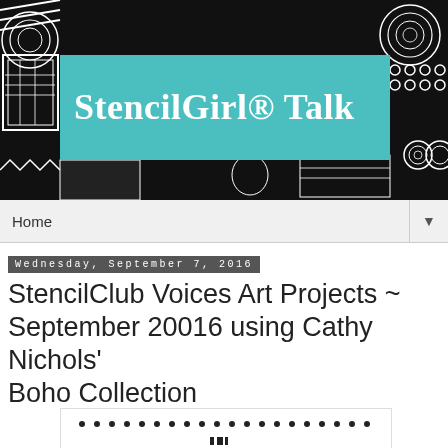[Figure (illustration): Black and white decorative header image with various stencil patterns, geometric shapes, spirals, and abstract designs. A large teal/turquoise rectangle overlays the center containing the text 'StencilGirl® Talk' in white serif bold font.]
Home
Wednesday, September 7, 2016
StencilClub Voices Art Projects ~ September 20016 using Cathy Nichols' Boho Collection
[Figure (illustration): Partial view of a black and white decorative art project image at the bottom of the page, showing dotted/patterned design elements]